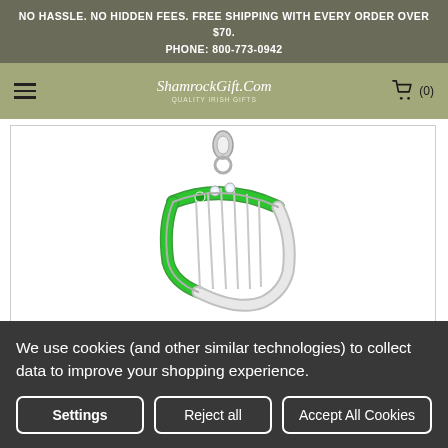NO HASSLE. NO HIDDEN FEES. FREE SHIPPING WITH EVERY ORDER OVER $70.
PHONE: 800-773-0942
ShamrockGift.Com
QUALITY IRISH GIFTS
[Figure (photo): Close-up photo of a silver and green enamel Irish harp charm pendant with crystal accents, shown partially cropped against a white background.]
We use cookies (and other similar technologies) to collect data to improve your shopping experience.